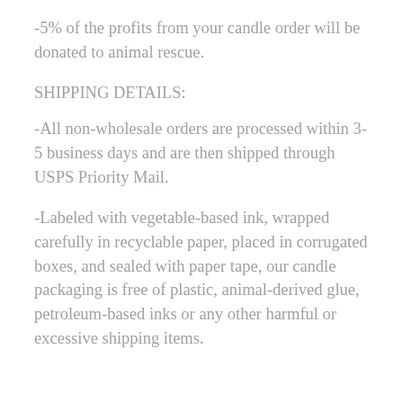-5% of the profits from your candle order will be donated to animal rescue.
SHIPPING DETAILS:
-All non-wholesale orders are processed within 3-5 business days and are then shipped through USPS Priority Mail.
-Labeled with vegetable-based ink, wrapped carefully in recyclable paper, placed in corrugated boxes, and sealed with paper tape, our candle packaging is free of plastic, animal-derived glue, petroleum-based inks or any other harmful or excessive shipping items.